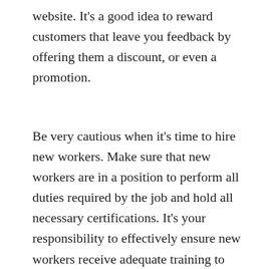website. It's a good idea to reward customers that leave you feedback by offering them a discount, or even a promotion.
Be very cautious when it's time to hire new workers. Make sure that new workers are in a position to perform all duties required by the job and hold all necessary certifications. It's your responsibility to effectively ensure new workers receive adequate training to excel at the tasks assigned to them. The